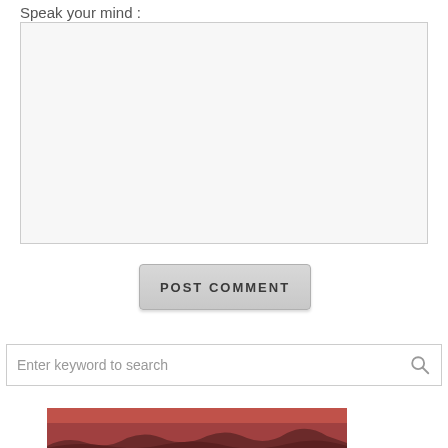Speak your mind :
[Figure (screenshot): Empty text area input box with light gray background and border]
[Figure (screenshot): POST COMMENT button with gray gradient background and rounded corners]
[Figure (screenshot): Search input box with placeholder text 'Enter keyword to search' and search icon on right]
[Figure (photo): Partial image showing a reddish-brown landscape with dark mountain silhouettes at the bottom]